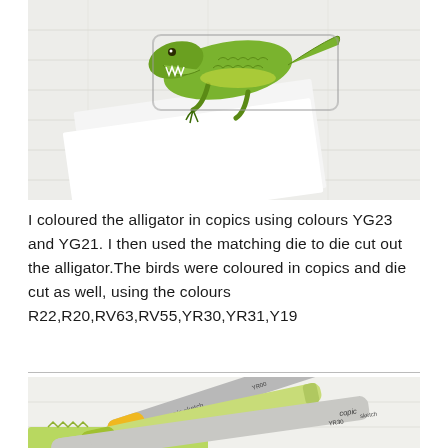[Figure (photo): Close-up photo of a hand-crafted die-cut alligator card topper coloured in green copics, placed on a white card/envelope on a white wood background.]
I coloured the alligator in copics using colours YG23 and YG21. I then used the matching die to die cut out the alligator.The birds were coloured in copics and die cut as well, using the colours R22,R20,RV63,RV55,YR30,YR31,Y19
[Figure (photo): Close-up photo of Copic sketch markers in yellow, light green, and grey tones arranged diagonally on a white surface, with a die-cut piece visible at the bottom.]